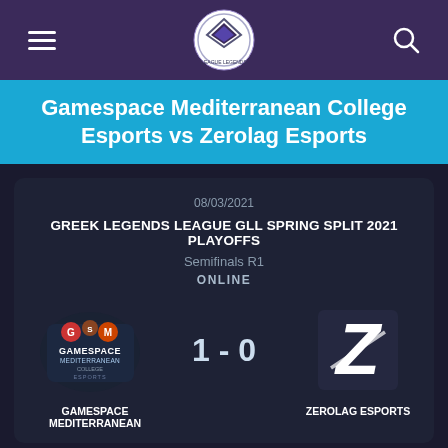Greek Legends League navigation bar with hamburger menu, logo, and search icon
Gamespace Mediterranean College Esports vs Zerolag Esports
08/03/2021
GREEK LEGENDS LEAGUE GLL SPRING SPLIT 2021 PLAYOFFS
Semifinals R1
ONLINE
[Figure (logo): Gamespace Mediterranean College Esports logo]
1 - 0
[Figure (logo): Zerolag Esports logo - stylized Z]
GAMESPACE MEDITERRANEAN
ZEROLAG ESPORTS